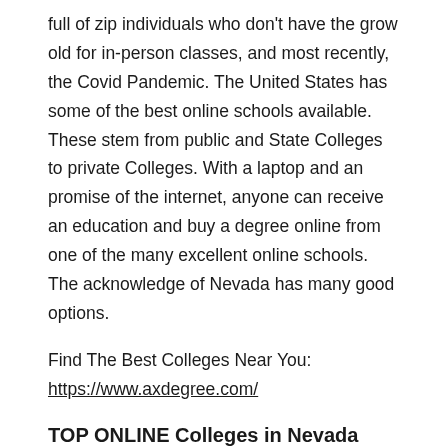full of zip individuals who don't have the grow old for in-person classes, and most recently, the Covid Pandemic. The United States has some of the best online schools available. These stem from public and State Colleges to private Colleges. With a laptop and an promise of the internet, anyone can receive an education and buy a degree online from one of the many excellent online schools. The acknowledge of Nevada has many good options.
Find The Best Colleges Near You:
https://www.axdegree.com/
TOP ONLINE Colleges in Nevada
The next is a list of the top online Colleges. Colorado State University Global offers a tuition guarantee. Your